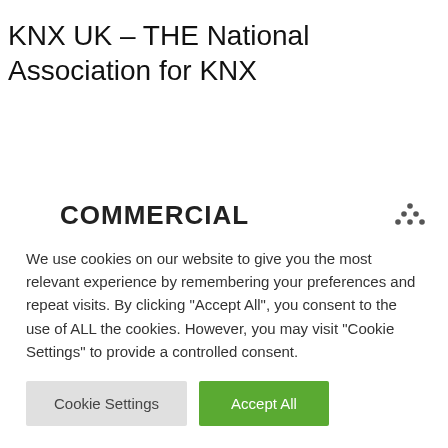KNX UK – THE National Association for KNX
COMMERCIAL
Beautifully integrated systems pre-programmed and commissioned on or off-site for maximum
We use cookies on our website to give you the most relevant experience by remembering your preferences and repeat visits. By clicking "Accept All", you consent to the use of ALL the cookies. However, you may visit "Cookie Settings" to provide a controlled consent.